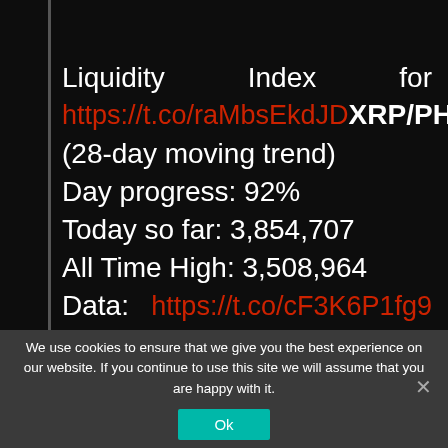Liquidity Index for https://t.co/raMbsEkdJD XRP/PHP (28-day moving trend) Day progress: 92% Today so far: 3,854,707 All Time High: 3,508,964 Data: https://t.co/cF3K6P1fg9 pic.twitter.com/FOOl4UyA3d
We use cookies to ensure that we give you the best experience on our website. If you continue to use this site we will assume that you are happy with it.